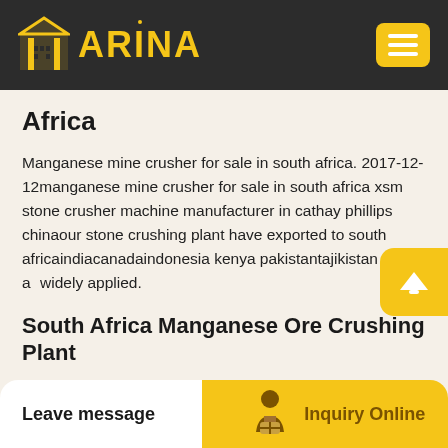ARINA
Africa
Manganese mine crusher for sale in south africa. 2017-12-12manganese mine crusher for sale in south africa xsm stone crusher machine manufacturer in cathay phillips chinaour stone crushing plant have exported to south africaindiacanadaindonesia kenya pakistantajikistan and are widely applied.
South Africa Manganese Ore Crushing Plant
Crushing and screening of manganese ghana south africa. Oct 5, 2016 Established in 1935 and headquartered in Johannesburg South Africa. A company involved in the mini...
Leave message   Inquiry Online